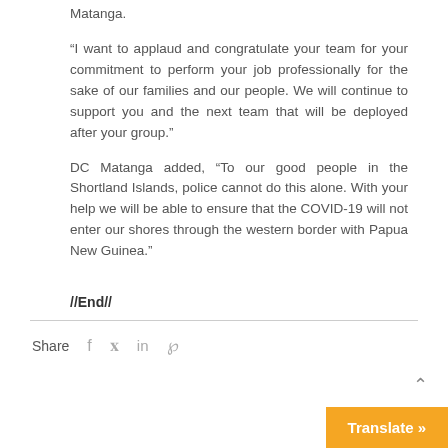Matanga.
“I want to applaud and congratulate your team for your commitment to perform your job professionally for the sake of our families and our people. We will continue to support you and the next team that will be deployed after your group.”
DC Matanga added, “To our good people in the Shortland Islands, police cannot do this alone. With your help we will be able to ensure that the COVID-19 will not enter our shores through the western border with Papua New Guinea.”
//End//
Share